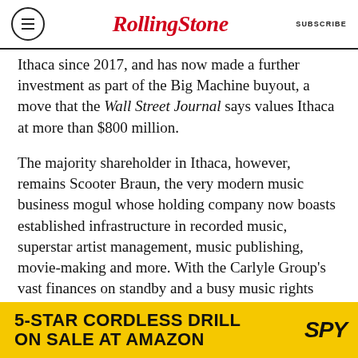RollingStone | SUBSCRIBE
Ithaca since 2017, and has now made a further investment as part of the Big Machine buyout, a move that the Wall Street Journal says values Ithaca at more than $800 million.
The majority shareholder in Ithaca, however, remains Scooter Braun, the very modern music business mogul whose holding company now boasts established infrastructure in recorded music, superstar artist management, music publishing, movie-making and more. With the Carlyle Group's vast finances on standby and a busy music rights marketplace unfurling, don't expect to see Braun flinch when more rapid growth opportunities arise in the future.
[Figure (other): Advertisement banner: 5-STAR CORDLESS DRILL ON SALE AT AMAZON with SPY logo on yellow background]